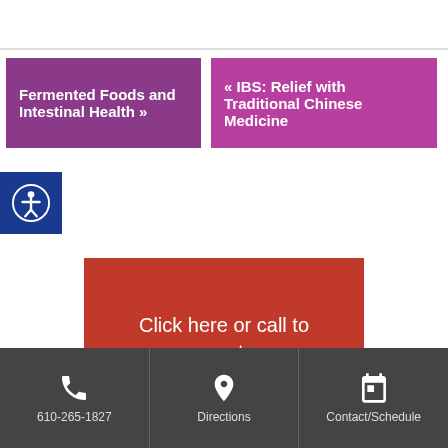Fermented Foods and Intestinal Health »
« IBS: Relief with Traditional Chinese Medicine
Click here or call to request an appointment
The Healing Point
215 W. Church Rd.
610-265-1827  Directions  Contact/Schedule